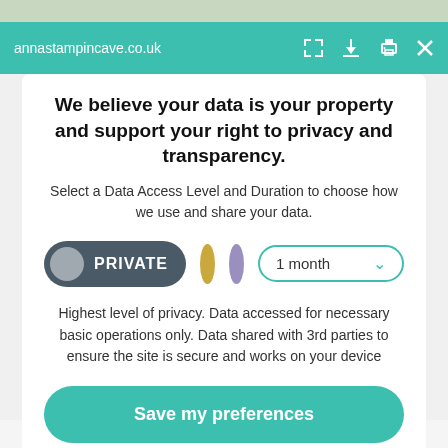annastampincave.co.uk
We believe your data is your property and support your right to privacy and transparency.
Select a Data Access Level and Duration to choose how we use and share your data.
[Figure (screenshot): Privacy controls row with PRIVATE pill toggle, gold circle, purple circle, and 1 month dropdown selector]
Highest level of privacy. Data accessed for necessary basic operations only. Data shared with 3rd parties to ensure the site is secure and works on your device
Save my preferences
Customize   Privacy policy
strength.